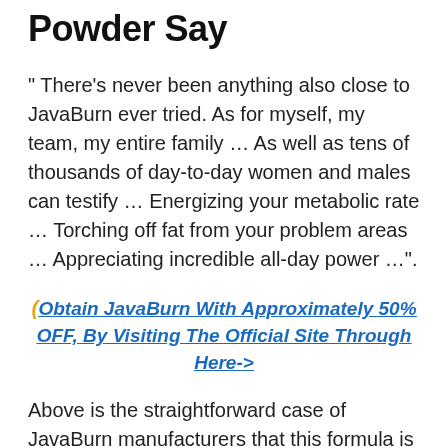Powder Say
" There's never been anything also close to JavaBurn ever tried. As for myself, my team, my entire family … As well as tens of thousands of day-to-day women and males can testify … Energizing your metabolic rate … Torching off fat from your problem areas … Appreciating incredible all-day power …".
(Obtain JavaBurn With Approximately 50% OFF, By Visiting The Official Site Through Here->
Above is the straightforward case of JavaBurn manufacturers that this formula is blasting to boost your metabolic rate and also increase overall health. This statement numerous weight